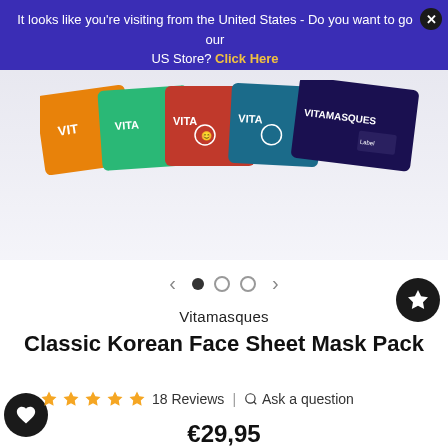It looks like you're visiting from the United States - Do you want to go our US Store? Click Here
[Figure (photo): Vitamasques Classic Korean Face Sheet Mask Pack product image showing multiple colorful mask packets fanned out]
Vitamasques
Classic Korean Face Sheet Mask Pack
18 Reviews | Ask a question
€29,95